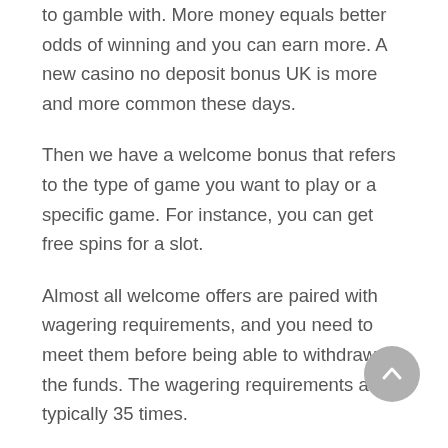to gamble with. More money equals better odds of winning and you can earn more. A new casino no deposit bonus UK is more and more common these days.
Then we have a welcome bonus that refers to the type of game you want to play or a specific game. For instance, you can get free spins for a slot.
Almost all welcome offers are paired with wagering requirements, and you need to meet them before being able to withdraw the funds. The wagering requirements are typically 35 times.
✓ No Deposit Bonus
New casino no deposit bonus is the most appealing